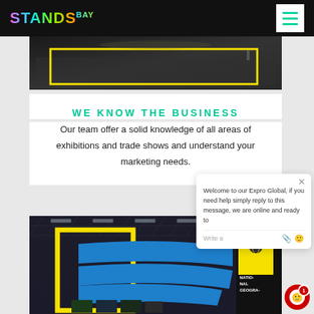STANDSBAY
[Figure (photo): Exhibition hall floor photo with yellow rectangle border on a dark background]
WE KNOW THE BUSINESS
Our team offer a solid knowledge of all areas of exhibitions and trade shows and understand your marketing needs.
[Figure (photo): National Geographic exhibition stand with large blue curved ribbons and yellow frame in a trade show hall]
Welcome to our Expro Global, if you need help simply reply to this message, we are online and ready to